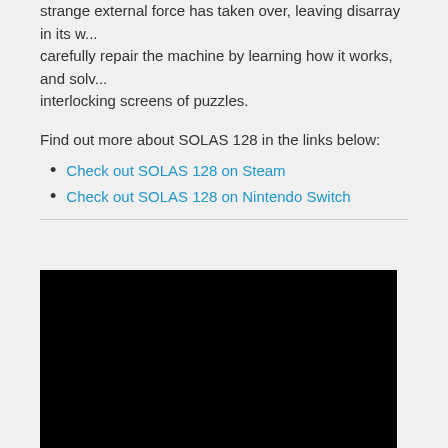strange external force has taken over, leaving disarray in its w... carefully repair the machine by learning how it works, and solv... interlocking screens of puzzles.
Find out more about SOLAS 128 in the links below:
Check out SOLAS 128 on Steam
Check out SOLAS 128 on Nintendo Switch
[Figure (photo): Black rectangle representing a video or image embed area]